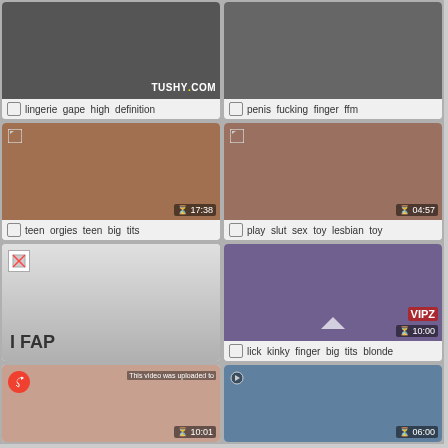[Figure (screenshot): Video thumbnail grid cell 1 - lingerie content with TUSHY.COM watermark]
lingerie gape high definition
[Figure (screenshot): Video thumbnail grid cell 2 - sexual content]
penis fucking finger ffm
[Figure (screenshot): Video thumbnail - teen content, duration 17:38]
teen orgies teen big tits
[Figure (screenshot): Video thumbnail - duration 04:57]
play slut sex toy lesbian toy
[Figure (screenshot): Broken image thumbnail with I FAP text]
I FAP
[Figure (screenshot): Video thumbnail - duration 10:00, VIPZ badge]
lick kinky finger big tits blonde
[Figure (screenshot): Video thumbnail - share icon, duration 10:01, This video was uploaded to overlay]
[Figure (screenshot): Video thumbnail - duration 06:00]